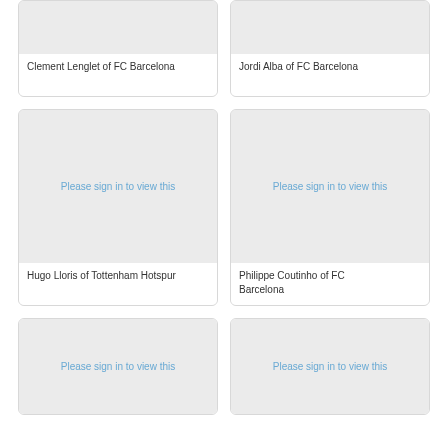[Figure (photo): Placeholder image for Clement Lenglet of FC Barcelona - requires sign in]
Clement Lenglet of FC Barcelona
[Figure (photo): Placeholder image for Jordi Alba of FC Barcelona - requires sign in]
Jordi Alba of FC Barcelona
[Figure (photo): Please sign in to view this - Hugo Lloris of Tottenham Hotspur]
Hugo Lloris of Tottenham Hotspur
[Figure (photo): Please sign in to view this - Philippe Coutinho of FC Barcelona]
Philippe Coutinho of FC Barcelona
[Figure (photo): Please sign in to view this - bottom left card]
[Figure (photo): Please sign in to view this - bottom right card]